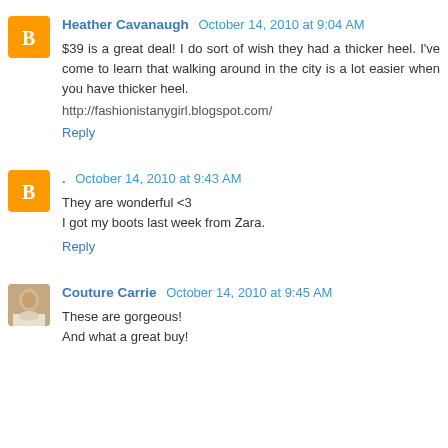Heather Cavanaugh  October 14, 2010 at 9:04 AM
$39 is a great deal! I do sort of wish they had a thicker heel. I've come to learn that walking around in the city is a lot easier when you have thicker heel.

http://fashionistanygirl.blogspot.com/
Reply
. October 14, 2010 at 9:43 AM
They are wonderful <3
I got my boots last week from Zara.
Reply
Couture Carrie  October 14, 2010 at 9:45 AM
These are gorgeous!
And what a great buy!